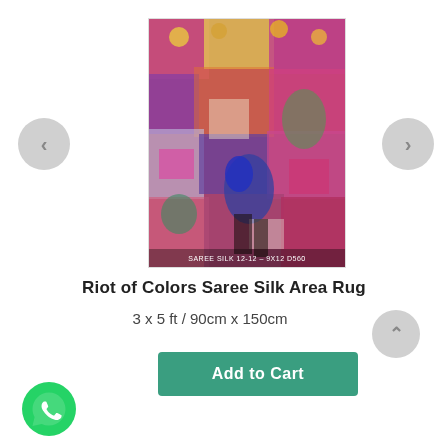[Figure (photo): Colorful multicolored Saree Silk area rug with abstract pattern featuring bright pinks, purples, blues, greens and yellows. Bottom of image shows text: SAREE SILK 12-12 - 9X12 D560]
Riot of Colors Saree Silk Area Rug
3 x 5 ft / 90cm x 150cm
Add to Cart